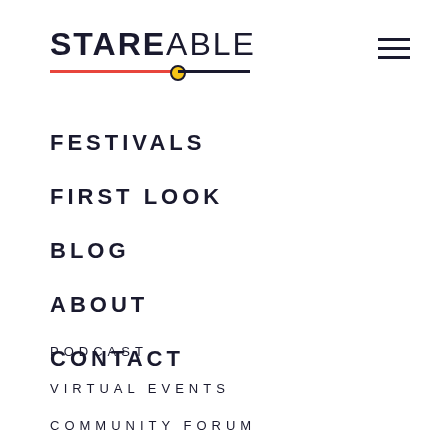[Figure (logo): Stareable logo with red and dark horizontal lines and a yellow dot]
FESTIVALS
FIRST LOOK
BLOG
ABOUT
CONTACT
PODCAST
VIRTUAL EVENTS
COMMUNITY FORUM